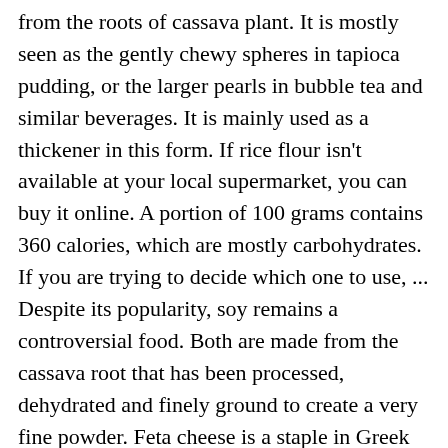from the roots of cassava plant. It is mostly seen as the gently chewy spheres in tapioca pudding, or the larger pearls in bubble tea and similar beverages. It is mainly used as a thickener in this form. If rice flour isn't available at your local supermarket, you can buy it online. A portion of 100 grams contains 360 calories, which are mostly carbohydrates. If you are trying to decide which one to use, ... Despite its popularity, soy remains a controversial food. Both are made from the cassava root that has been processed, dehydrated and finely ground to create a very fine powder. Feta cheese is a staple in Greek cuisine and the Mediterranean diet, but you may wonder what type of milk it's made of. Potato starch is almost as good as tapioca starch. November 9, 2011 < http://www.differencebetween.net/object/comparisons